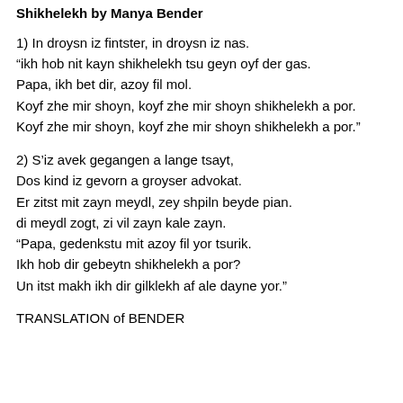Shikhelekh by Manya Bender
1) In droysn iz fintster, in droysn iz nas.
“ikh hob nit kayn shikhelekh tsu geyn oyf der gas.
Papa, ikh bet dir, azoy fil mol.
Koyf zhe mir shoyn, koyf zhe mir shoyn shikhelekh a por.
Koyf zhe mir shoyn, koyf zhe mir shoyn shikhelekh a por.”
2) S’iz avek gegangen a lange tsayt,
Dos kind iz gevorn a groyser advokat.
Er zitst mit zayn meydl, zey shpiln beyde pian.
di meydl zogt, zi vil zayn kale zayn.
“Papa, gedenkstu mit azoy fil yor tsurik.
Ikh hob dir gebeytn shikhelekh a por?
Un itst makh ikh dir gilklekh af ale dayne yor.”
TRANSLATION of BENDER